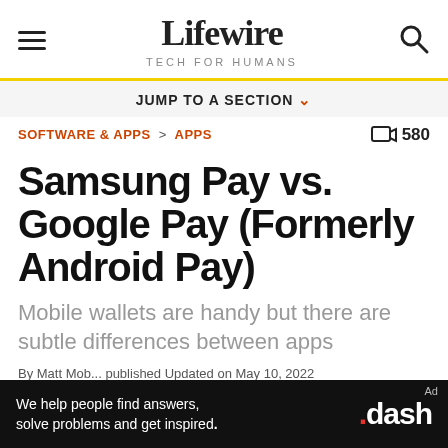Lifewire — TECH FOR HUMANS
JUMP TO A SECTION
SOFTWARE & APPS > APPS  580
Samsung Pay vs. Google Pay (Formerly Android Pay)
Mobile wallets are handy but there are subtle differences between apps
We help people find answers, solve problems and get inspired. .dash